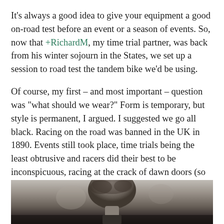It's always a good idea to give your equipment a good on-road test before an event or a season of events. So, now that +RichardM, my time trial partner, was back from his winter sojourn in the States, we set up a session to road test the tandem bike we'd be using.
Of course, my first – and most important – question was "what should we wear?" Form is temporary, but style is permanent, I argued. I suggested we go all black. Racing on the road was banned in the UK in 1890. Events still took place, time trials being the least obtrusive and racers did their best to be inconspicuous, racing at the crack of dawn doors (so events were usually over by 8am) and kitting themselves out in black from head to ankle to go under the radar. They never wore numbers and had to be equipped with a bell. So, black then, but no bell.
[Figure (photo): Black and white photograph showing the top of a person's head/hair, cropped at the bottom of the page.]